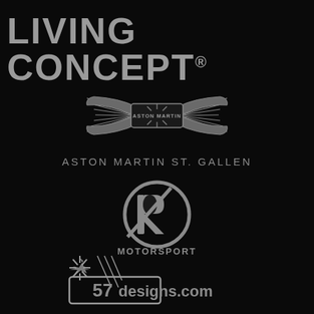LIVING CONCEPT®
[Figure (logo): Aston Martin wings logo with text ASTON MARTIN in center badge]
ASTON MARTIN ST. GALLEN
[Figure (logo): R Motorsport circular logo with stylized R and checkered flag element, text MOTORSPORT below]
[Figure (logo): 57designs.com logo with stylized angular design and lightning bolt]